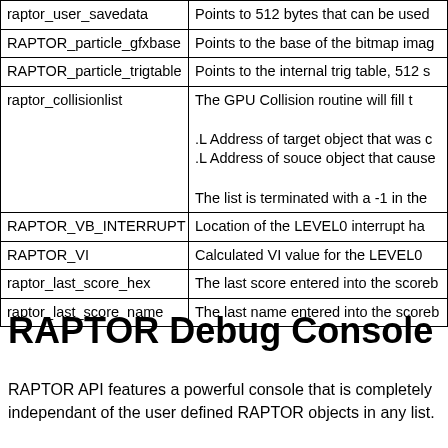|  |  |
| --- | --- |
| raptor_user_savedata | Points to 512 bytes that can be used |
| RAPTOR_particle_gfxbase | Points to the base of the bitmap imag |
| RAPTOR_particle_trigtable | Points to the internal trig table, 512 s |
| raptor_collisionlist | The GPU Collision routine will fill t

.L Address of target object that was c
.L Address of souce object that cause

The list is terminated with a -1 in the |
| RAPTOR_VB_INTERRUPT | Location of the LEVEL0 interrupt ha |
| RAPTOR_VI | Calculated VI value for the LEVEL0 |
| raptor_last_score_hex | The last score entered into the scoreb |
| raptor_last_score_name | The last name entered into the scoreb |
RAPTOR Debug Console
RAPTOR API features a powerful console that is completely independant of the user defined RAPTOR objects in any list.